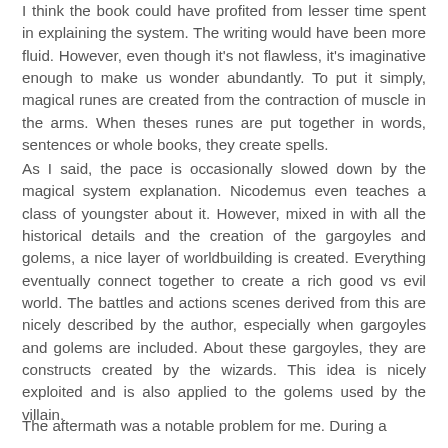I think the book could have profited from lesser time spent in explaining the system. The writing would have been more fluid. However, even though it's not flawless, it's imaginative enough to make us wonder abundantly. To put it simply, magical runes are created from the contraction of muscle in the arms. When theses runes are put together in words, sentences or whole books, they create spells.
As I said, the pace is occasionally slowed down by the magical system explanation. Nicodemus even teaches a class of youngster about it. However, mixed in with all the historical details and the creation of the gargoyles and golems, a nice layer of worldbuilding is created. Everything eventually connect together to create a rich good vs evil world. The battles and actions scenes derived from this are nicely described by the author, especially when gargoyles and golems are included. About these gargoyles, they are constructs created by the wizards. This idea is nicely exploited and is also applied to the golems used by the villain.
The aftermath was a notable problem for me. During a